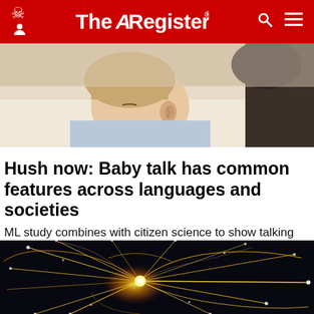The Register
[Figure (photo): Close-up photo of a sleeping baby next to an adult, soft warm tones]
Hush now: Baby talk has common features across languages and societies
ML study combines with citizen science to show talking and singing to infants may have evolutionary roots
SCIENCE   1 month | 33
[Figure (photo): Particle collision visualization showing bright yellow-golden light trails and lines radiating from a central point on a dark background]